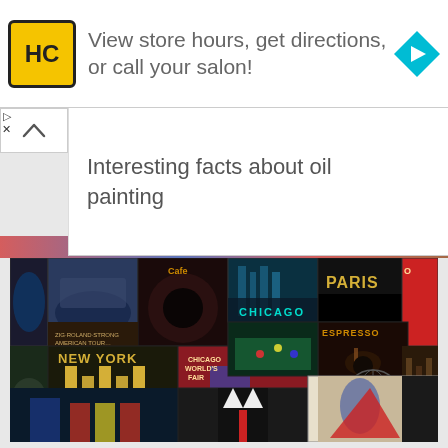[Figure (screenshot): Advertisement banner: HC salon logo (yellow square with HC text), text 'View store hours, get directions, or call your salon!', blue diamond navigation icon on the right]
Interesting facts about oil painting
[Figure (photo): Collage of vintage Art Deco style travel and advertising posters including: Chicago, Paris, New York, Espresso, Chicago World's Fair, Hermes, and various other retro-style posters]